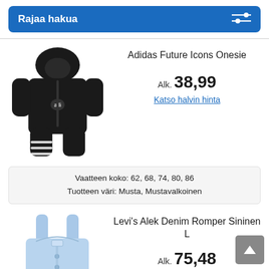Rajaa hakua
[Figure (photo): Black Adidas Future Icons Onesie baby jumpsuit with white three stripes and hood]
Adidas Future Icons Onesie
Alk. 38,99
Katso halvin hinta
Vaatteen koko: 62, 68, 74, 80, 86
Tuotteen väri: Musta, Mustavalkoinen
[Figure (photo): Light blue Levi's Alek Denim Romper dress with button front and spaghetti straps]
Levi's Alek Denim Romper Sininen L
Alk. 75,48
Katso halvin hinta